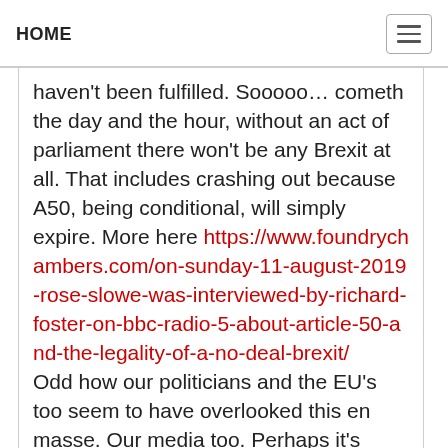HOME
haven't been fulfilled. Sooooo… cometh the day and the hour, without an act of parliament there won't be any Brexit at all. That includes crashing out because A50, being conditional, will simply expire. More here https://www.foundrychambers.com/on-sunday-11-august-2019-rose-slowe-was-interviewed-by-richard-foster-on-bbc-radio-5-about-article-50-and-the-legality-of-a-no-deal-brexit/ Odd how our politicians and the EU's too seem to have overlooked this en masse. Our media too. Perhaps it's because they have agendas and ignoring it while they can serves those agendas better. People with an interest and some knowledge of the relevant law, however,